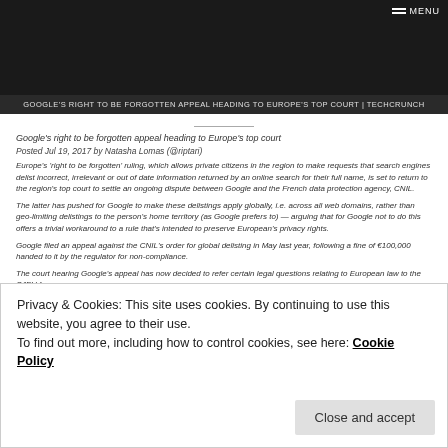GOOGLE'S RIGHT TO BE FORGOTTEN APPEAL HEADING TO EUROPE'S TOP COURT | TECHCRUNCH
Google's right to be forgotten appeal heading to Europe's top court
Posted Jul 19, 2017 by Natasha Lomas (@riptari)
Europe's 'right to be forgotten' ruling, which allows private citizens in the region to make requests that search engines delist incorrect, irrelevant or out of date information returned by an online search for their full name, is set to return to the region's top court to settle an ongoing dispute between Google and the French data protection agency, CNIL.
The latter has pushed for Google to make these delistings apply globally, i.e. across all web domains, rather than geo-limiting delistings to the person's home territory (as Google prefers to) — arguing that for Google not to do this offers a trivial workaround to a rule that's intended to preserve European's privacy rights.
Google filed an appeal against the CNIL's order for global delisting in May last year, following a fine of €100,000 handed to it by the regulator for non-compliance.
The court hearing Google's appeal has now decided to refer certain legal questions relating to European law to the CJEU for a
Privacy & Cookies: This site uses cookies. By continuing to use this website, you agree to their use.
To find out more, including how to control cookies, see here: Cookie Policy
Close and accept